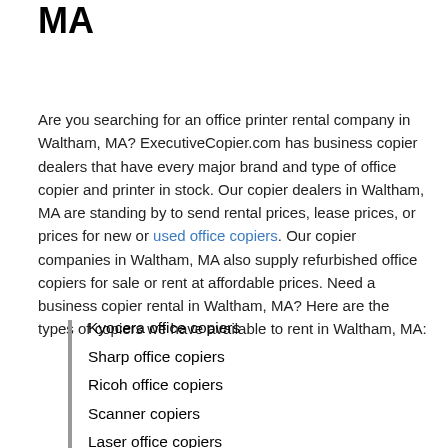MA
Are you searching for an office printer rental company in Waltham, MA? ExecutiveCopier.com has business copier dealers that have every major brand and type of office copier and printer in stock. Our copier dealers in Waltham, MA are standing by to send rental prices, lease prices, or prices for new or used office copiers. Our copier companies in Waltham, MA also supply refurbished office copiers for sale or rent at affordable prices. Need a business copier rental in Waltham, MA? Here are the types of copiers we have available to rent in Waltham, MA:
Kyocera office copiers
Sharp office copiers
Ricoh office copiers
Scanner copiers
Laser office copiers